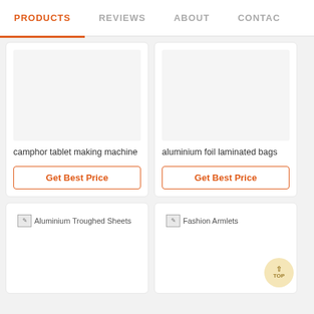PRODUCTS | REVIEWS | ABOUT | CONTAC
[Figure (photo): Product image placeholder (gray box) for camphor tablet making machine]
camphor tablet making machine
Get Best Price
[Figure (photo): Product image placeholder (gray box) for aluminium foil laminated bags]
aluminium foil laminated bags
Get Best Price
[Figure (photo): Broken image icon for Aluminium Troughed Sheets]
Aluminium Troughed Sheets
[Figure (photo): Broken image icon for Fashion Armlets]
Fashion Armlets